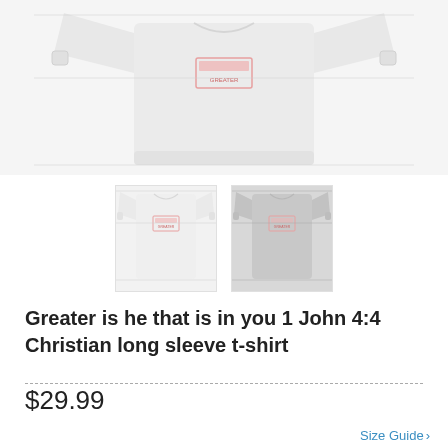[Figure (photo): Main product image of a white long sleeve t-shirt displayed on a hanger with sleeves extended outward, front view showing a small graphic print on the chest area]
[Figure (photo): Two thumbnail images of the long sleeve t-shirt: left thumbnail showing white color version, right thumbnail showing gray/silver color version, both displaying the graphic print on chest]
Greater is he that is in you 1 John 4:4 Christian long sleeve t-shirt
$29.99
Size Guide